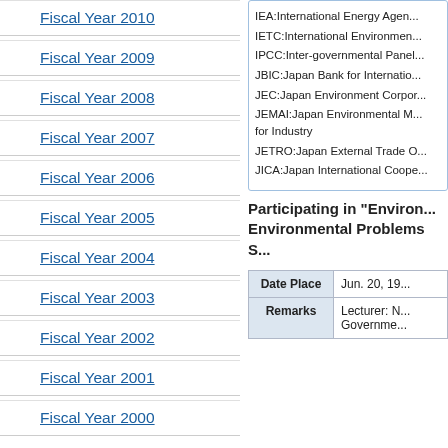Fiscal Year 2010
Fiscal Year 2009
Fiscal Year 2008
Fiscal Year 2007
Fiscal Year 2006
Fiscal Year 2005
Fiscal Year 2004
Fiscal Year 2003
Fiscal Year 2002
Fiscal Year 2001
Fiscal Year 2000
IEA:International Energy Agency IETC:International Environment... IPCC:Inter-governmental Panel JBIC:Japan Bank for International... JEC:Japan Environment Corporation JEMAI:Japan Environmental M... for Industry JETRO:Japan External Trade O... JICA:Japan International Cooperation...
Participating in "Environ... Environmental Problems S...
| Date Place |  |
| --- | --- |
| Date Place | Jun. 20, 19... |
| Remarks | Lecturer: N...
Government... |